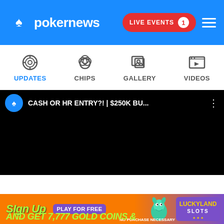[Figure (logo): PokerNews logo with spade icon and text on blue header bar. Right side has red LIVE EVENTS button with badge showing 1, and hamburger menu icon.]
[Figure (screenshot): Navigation bar with four icons and labels: UPDATES (active, blue), CHIPS, GALLERY, VIDEOS]
[Figure (screenshot): Black video player area showing title: CASH OR HR ENTRY?! | $250K BU... with PokerNews logo and three-dot menu]
[Figure (screenshot): LuckyLand Slots advertisement banner: Sign Up PLAY FOR FREE and GET 7,777 GOLD COINS & with dragon/character graphics and LuckyLand Slots logo. NO PURCHASE NECESSARY disclaimer text.]